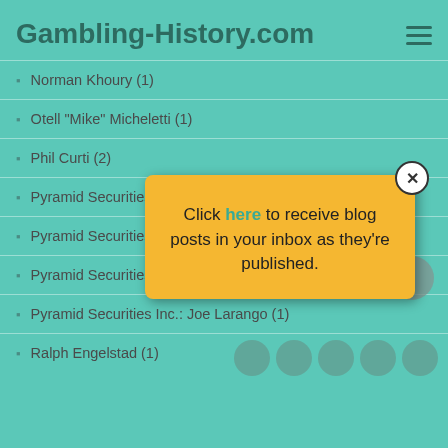Gambling-History.com
Norman Khoury (1)
Otell "Mike" Micheletti (1)
Phil Curti (2)
Pyramid Securities [partially obscured]
Pyramid Securities [partially obscured] (1)
Pyramid Securities Inc.: Joe Caulk (1)
Pyramid Securities Inc.: Joe Larango (1)
Ralph Engelstad (1)
[Figure (infographic): Yellow popup modal overlay with close button (X), text: Click here to receive blog posts in your inbox as they're published.]